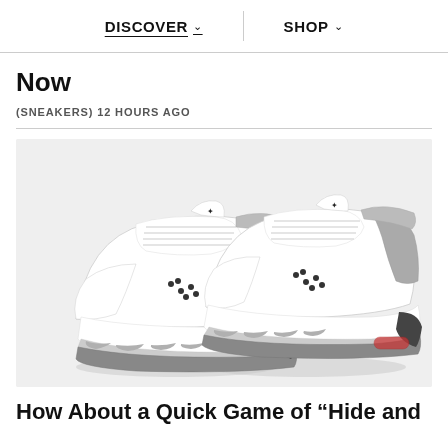DISCOVER  SHOP
Now
(SNEAKERS) 12 HOURS AGO
[Figure (photo): Two white Air Jordan 3 sneakers with grey elephant print detailing, grey suede heel panel, black Jumpman logo on tongue, displayed on light grey background. Watermark @Zmz visible.]
How About a Quick Game of “Hide and